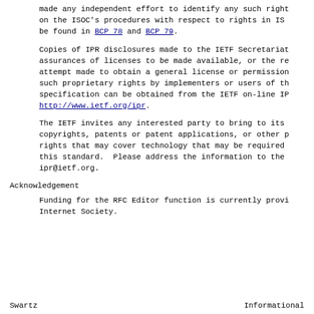made any independent effort to identify any such right on the ISOC's procedures with respect to rights in ISC be found in BCP 78 and BCP 79.
Copies of IPR disclosures made to the IETF Secretariat assurances of licenses to be made available, or the re attempt made to obtain a general license or permission such proprietary rights by implementers or users of th specification can be obtained from the IETF on-line IP http://www.ietf.org/ipr.
The IETF invites any interested party to bring to its copyrights, patents or patent applications, or other p rights that may cover technology that may be required this standard.  Please address the information to the ipr@ietf.org.
Acknowledgement
Funding for the RFC Editor function is currently provi Internet Society.
Swartz                                           Informational